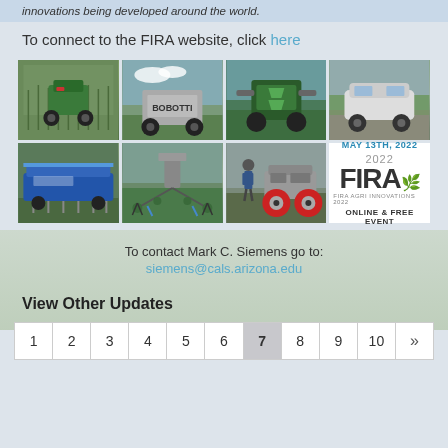innovations being developed around the world.
To connect to the FIRA website, click here
[Figure (photo): Grid of 7 agricultural field robots and the FIRA 2022 event card showing autonomous farming machinery]
To contact Mark C. Siemens go to:
siemens@cals.arizona.edu
View Other Updates
Pagination: 1 2 3 4 5 6 7 8 9 10 »